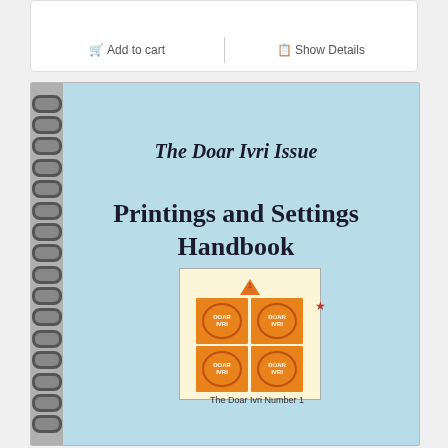Add to cart | Show Details
[Figure (photo): Cover of a spiral-bound book titled 'The Doar Ivri Issue – Printings and Settings Handbook', light blue cover with an image of a block of four orange stamps labeled 'The Doar Ivri Number 1']